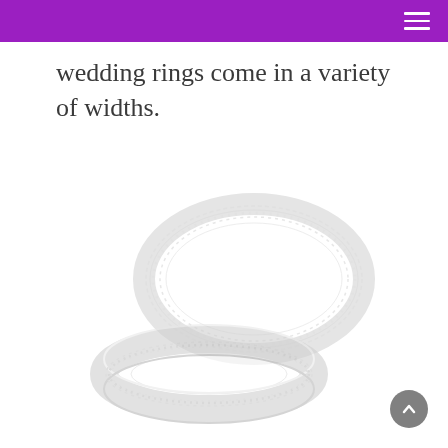wedding rings come in a variety of widths.
[Figure (photo): Two white gold/silver wedding rings with decorative engraving, shown overlapping at an angle on a white background. The rings appear ornate with detailed patterned bands.]